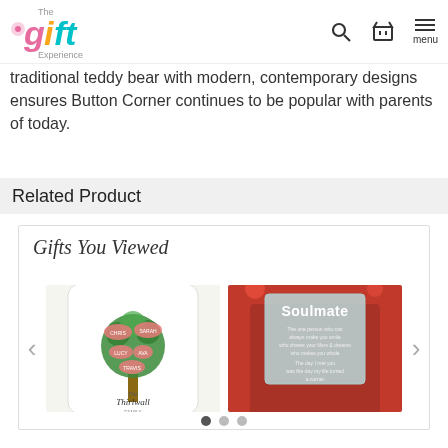The Gift Experience
traditional teddy bear with modern, contemporary designs ensures Button Corner continues to be popular with parents of today.
Related Product
Gifts You Viewed
[Figure (photo): White cushion with a green family tree design and names, titled 'The Thirlwall Family']
[Figure (photo): A 'Soulmate' glass plaque in a red gift box with a romantic message]